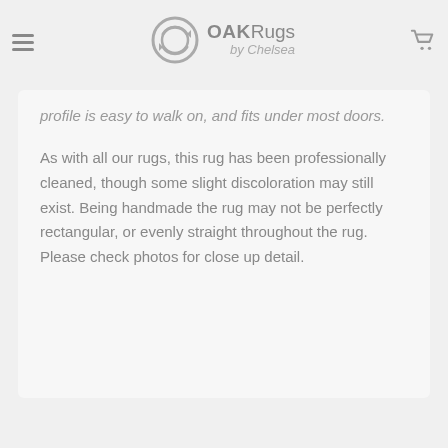OAKRugs by Chelsea — navigation header
profile is easy to walk on, and fits under most doors.
As with all our rugs, this rug has been professionally cleaned, though some slight discoloration may still exist. Being handmade the rug may not be perfectly rectangular, or evenly straight throughout the rug. Please check photos for close up detail.